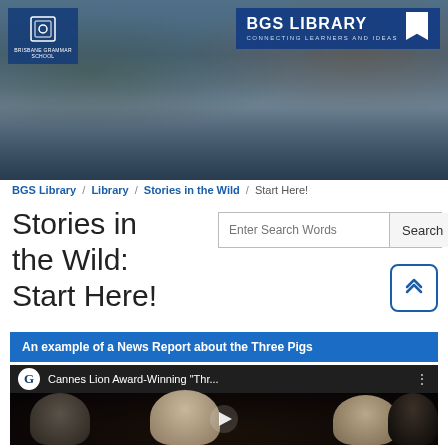[Figure (photo): BGS Library website header banner showing students walking outside a school building. BGS logo in top-left, BGS Library badge in top-right.]
BGS Library / Library / Stories in the Wild / Start Here!
Stories in the Wild: Start Here!
[Figure (screenshot): Search bar with placeholder 'Enter Search Words' and a Search button]
[Figure (other): Scroll-to-top button with double chevron up arrow, rounded square border in blue]
An example of a News Report about the Three Pigs
[Figure (screenshot): Embedded YouTube video thumbnail showing Cannes Lion Award-Winning 'Thr...' with pig puppets scene and play button overlay. G logo icon visible in top bar.]